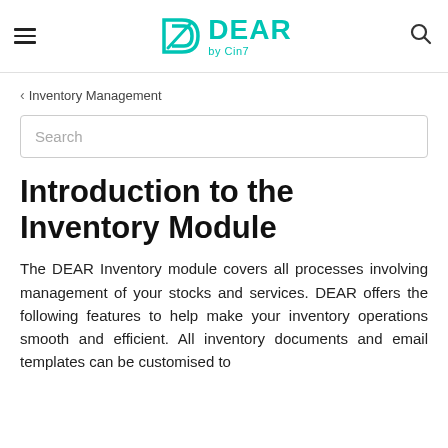DEAR by Cin7 (logo header with hamburger menu and search icon)
‹ Inventory Management
Search
Introduction to the Inventory Module
The DEAR Inventory module covers all processes involving management of your stocks and services. DEAR offers the following features to help make your inventory operations smooth and efficient. All inventory documents and email templates can be customised to